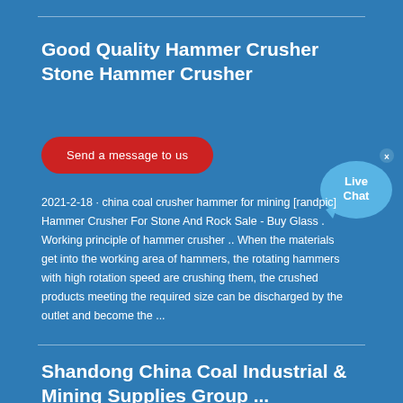Good Quality Hammer Crusher Stone Hammer Crusher
Send a message to us
2021-2-18 · china coal crusher hammer for mining [randpic] Hammer Crusher For Stone And Rock Sale - Buy Glass . Working principle of hammer crusher .. When the materials get into the working area of hammers, the rotating hammers with high rotation speed are crushing them, the crushed products meeting the required size can be discharged by the outlet and become the ...
Shandong China Coal Industrial & Mining Supplies Group ...